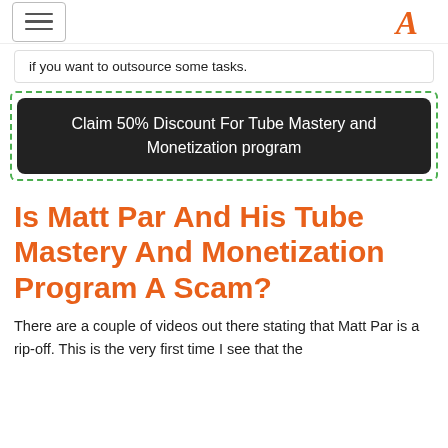[hamburger menu] [logo]
if you want to outsource some tasks.
Claim 50% Discount For Tube Mastery and Monetization program
Is Matt Par And His Tube Mastery And Monetization Program A Scam?
There are a couple of videos out there stating that Matt Par is a rip-off. This is the very first time I see that the